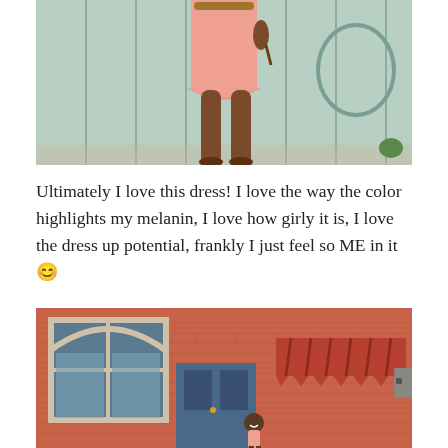[Figure (photo): Woman wearing a pink/salmon short dress standing in front of a light mint-green painted wall/fence with graffiti. Only the lower body (from waist down) is visible showing the dress and legs.]
Ultimately I love this dress! I love the way the color highlights my melanin, I love how girly it is, I love the dress up potential, frankly I just feel so ME in it 🙂
[Figure (photo): Woman in a pink dress standing/smiling in front of a red/terracotta brick building with an arched white window on the left, a red striped awning, and a blue door. The photo is taken from a distance making the person appear small.]